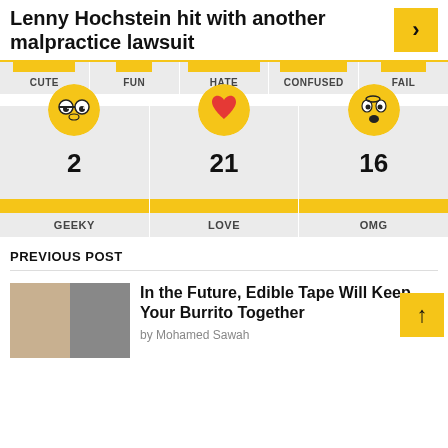Lenny Hochstein hit with another malpractice lawsuit
[Figure (infographic): Reaction bar chart showing CUTE, FUN, HATE, CONFUSED, FAIL categories with yellow fill bars of varying lengths]
[Figure (infographic): Three emoji reaction cards: GEEKY (2), LOVE (21), OMG (16)]
PREVIOUS POST
In the Future, Edible Tape Will Keep Your Burrito Together
by Mohamed Sawah